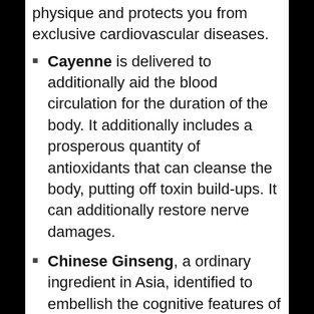physique and protects you from exclusive cardiovascular diseases.
Cayenne is delivered to additionally aid the blood circulation for the duration of the body. It additionally includes a prosperous quantity of antioxidants that can cleanse the body, putting off toxin build-ups. It can additionally restore nerve damages.
Chinese Ginseng, a ordinary ingredient in Asia, identified to embellish the cognitive features of the Genius and absolutely resource prostate health.
These are all the key substances brought in growing the PX7 Primal Flow dietary supplement.
All of which are safe for the user’s health. There